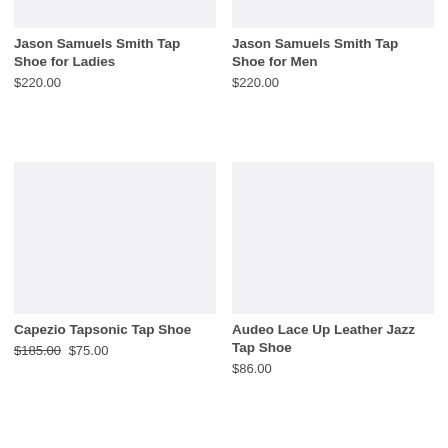[Figure (photo): Product image placeholder (light gray) for Jason Samuels Smith Tap Shoe for Ladies]
Jason Samuels Smith Tap Shoe for Ladies
$220.00
[Figure (photo): Product image placeholder (light gray) for Jason Samuels Smith Tap Shoe for Men]
Jason Samuels Smith Tap Shoe for Men
$220.00
[Figure (photo): Product image placeholder (light gray) for Capezio Tapsonic Tap Shoe]
Capezio Tapsonic Tap Shoe
$185.00 $75.00
[Figure (photo): Product image placeholder (light gray) for Audeo Lace Up Leather Jazz Tap Shoe]
Audeo Lace Up Leather Jazz Tap Shoe
$86.00